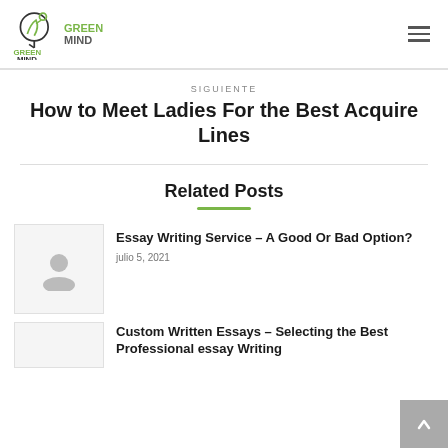GREEN MIND logo and navigation
SIGUIENTE
How to Meet Ladies For the Best Acquire Lines
Related Posts
Essay Writing Service – A Good Or Bad Option?
julio 5, 2021
Custom Written Essays – Selecting the Best Professional essay Writing